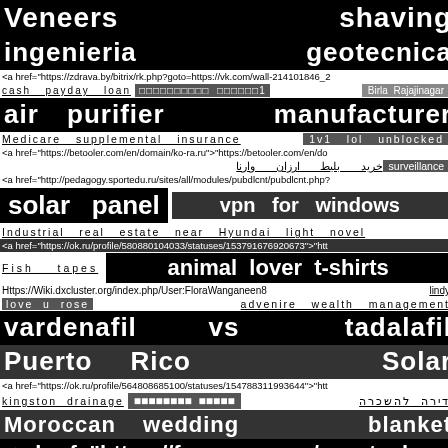Veneers    shaving
ingenieria    geotecnica
<a href="https://zdrava.by/bitrix/rk.php?goto=https://vk.com/wall-214101846_2
cash payday loan  ооооооооооо  оооооо1   Birla Rajajinagar
air    purifier    manufacturer
Medicare  supplemental  insurance   1v1  lol  unblocked
<a href="https://betooler.com/en/domain/ko-ra.ru">"https://betooler.com/en/do
خرید بلیط ارزان وارنا    surveillance
<a href="http://pedagogy.sportedu.ru/sites/all/modules/pubdlcnt/pubdlcnt.php?
solar  panel    vpn  for  windows
Industrial  real  estate  near  Hyundai  light  novel
<a href="https://ok.ru/profile/580880104033/statuses/153791676920673">"htt
Fish  tapes   animal  lover  t-shirts
Https://Wiki.dxcluster.org/index.php/User:FloraWanganeen8   lindy
love  u  rose   advenire  wealth  management
vardenafil    vs    tadalafil
Puerto    Rico    Solar
<a href="https://ok.ru/profile/564808685100/statuses/154788311993644">"htt
kingston drainage  оооооооооо  оооооо   דירה להשכרה
Moroccan    wedding    blanket
<a href="https://facenewss.ru/zagotovk